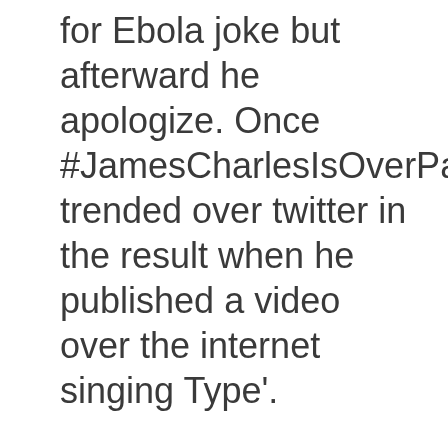for Ebola joke but afterward he apologize. Once #JamesCharlesIsOverParty trended over twitter in the result when he published a video over the internet singing Type'.